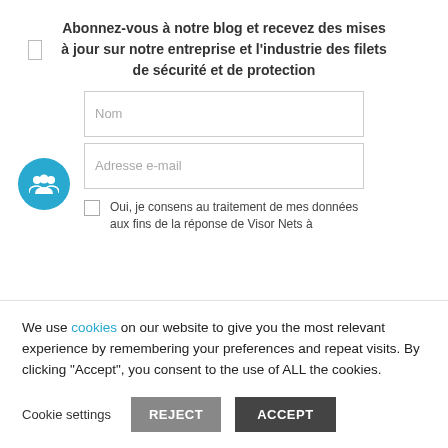Abonnez-vous à notre blog et recevez des mises à jour sur notre entreprise et l'industrie des filets de sécurité et de protection
[Figure (illustration): Blue circle icon with white group/people symbol and a small rectangle outline on the upper left]
Nom
Adresse e-mail
Oui, je consens au traitement de mes données aux fins de la réponse de Visor Nets à
We use cookies on our website to give you the most relevant experience by remembering your preferences and repeat visits. By clicking "Accept", you consent to the use of ALL the cookies.
Cookie settings  REJECT  ACCEPT